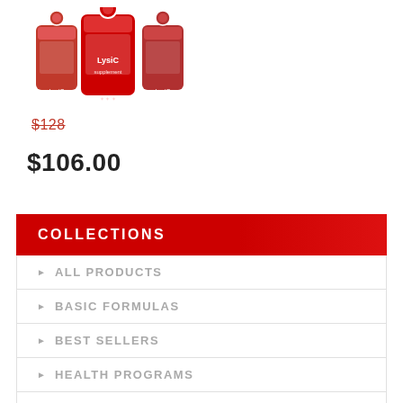[Figure (photo): Three red supplement product containers (LysiC) arranged together]
$128 (strikethrough/old price)
$106.00
COLLECTIONS
ALL PRODUCTS
BASIC FORMULAS
BEST SELLERS
HEALTH PROGRAMS
SPECIALS